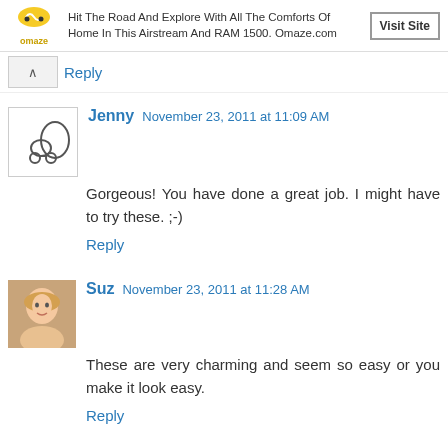[Figure (other): Omaze advertisement banner with logo, text about Airstream and RAM 1500, and Visit Site button]
Reply
Jenny  November 23, 2011 at 11:09 AM
Gorgeous! You have done a great job. I might have to try these. ;-)
Reply
[Figure (photo): Avatar photo of Suz, a woman with blonde hair]
Suz  November 23, 2011 at 11:28 AM
These are very charming and seem so easy or you make it look easy.
Reply
[Figure (photo): Avatar photo of LV]
LV  November 23, 2011 at 12:14 PM
Wish I had some of your festive spirit.
Reply